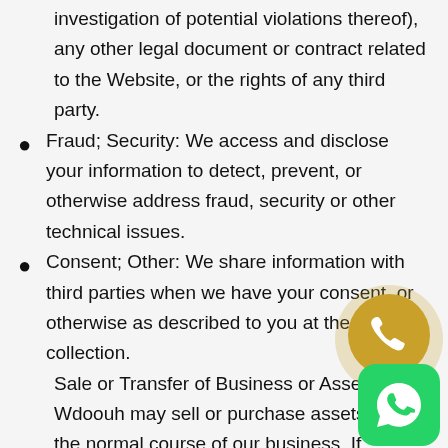investigation of potential violations thereof), any other legal document or contract related to the Website, or the rights of any third party.
Fraud; Security: We access and disclose your information to detect, prevent, or otherwise address fraud, security or other technical issues.
Consent; Other: We share information with third parties when we have your consent, or otherwise as described to you at the point of collection.
Sale or Transfer of Business or Assets: Wdoouh may sell or purchase assets during the normal course of our business. If another entity acquires us or any of our assets, information we have collected about you may be transferred to such entity. In addition, if any bankruptcy or reorganization
proceeding is brought by or against us, such information may be considered an asset of ours